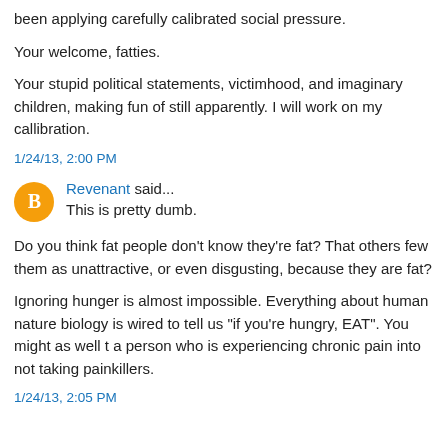been applying carefully calibrated social pressure.
Your welcome, fatties.
Your stupid political statements, victimhood, and imaginary children, making fun of still apparently. I will work on my callibration.
1/24/13, 2:00 PM
Revenant said...
This is pretty dumb.
Do you think fat people don't know they're fat? That others few them as unattractive, or even disgusting, because they are fat?
Ignoring hunger is almost impossible. Everything about human nature biology is wired to tell us "if you're hungry, EAT". You might as well tell a person who is experiencing chronic pain into not taking painkillers.
1/24/13, 2:05 PM